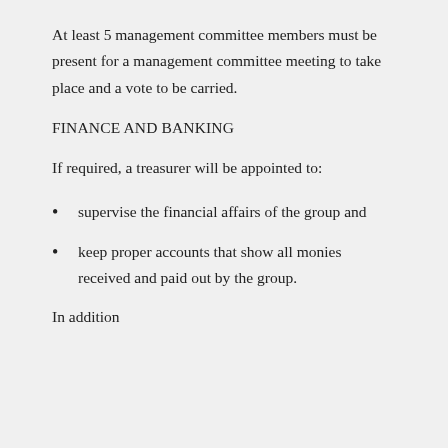At least 5 management committee members must be present for a management committee meeting to take place and a vote to be carried.
FINANCE AND BANKING
If required, a treasurer will be appointed to:
supervise the financial affairs of the group and
keep proper accounts that show all monies received and paid out by the group.
In addition